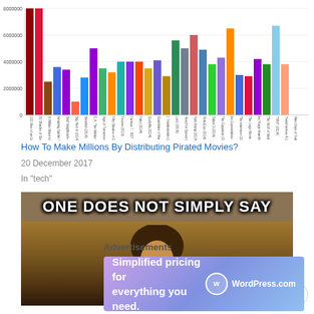[Figure (bar-chart): Pirated Movies Downloads 2014]
How To Make Millions By Distributing Pirated Movies?
20 December 2017
In "tech"
[Figure (photo): Meme image with text ONE DOES NOT SIMPLY SAY showing a man with long hair]
Advertisements
[Figure (infographic): WordPress.com advertisement: Simplified pricing for everything you need.]